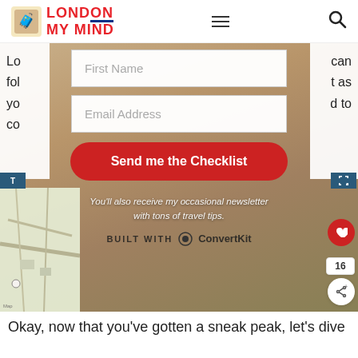LONDON MY MIND — navigation header with logo, hamburger menu, and search icon
Lo... can fol... t as yo... d to co...
[Figure (screenshot): Email signup form overlay with 'First Name' and 'Email Address' input fields, a red 'Send me the Checklist' button, italic disclaimer text 'You'll also receive my occasional newsletter with tons of travel tips.', and 'BUILT WITH ConvertKit' footer. Background shows Tower Bridge image.]
[Figure (map): Google Maps snippet showing London street map in bottom-left corner]
Okay, now that you've gotten a sneak peak, let's dive